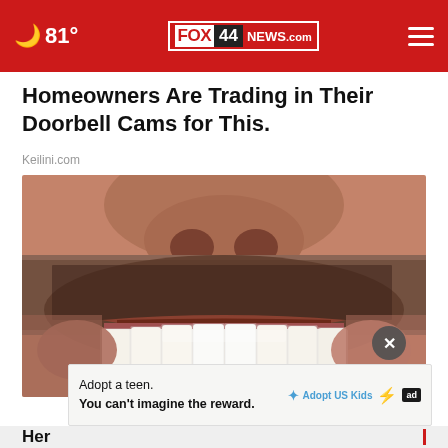81° FOX 44 NEWS.com
Homeowners Are Trading in Their Doorbell Cams for This.
Keilini.com
[Figure (photo): Close-up photo of a man's lower face showing smiling teeth and stubble beard]
Adopt a teen. You can't imagine the reward. Adopt US Kids ad
Her